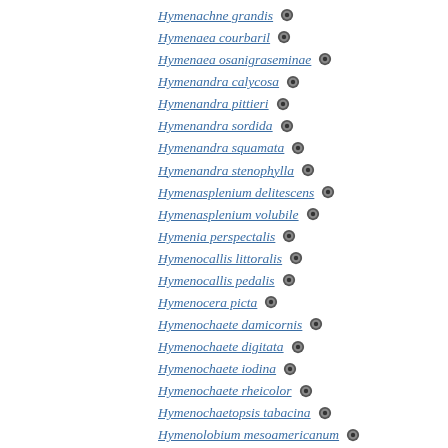Hymenachne grandis
Hymenaea courbaril
Hymenaea osanigraseminae
Hymenandra calycosa
Hymenandra pittieri
Hymenandra sordida
Hymenandra squamata
Hymenandra stenophylla
Hymenasplenium delitescens
Hymenasplenium volubile
Hymenia perspectalis
Hymenocallis littoralis
Hymenocallis pedalis
Hymenocera picta
Hymenochaete damicornis
Hymenochaete digitata
Hymenochaete iodina
Hymenochaete rheicolor
Hymenochaetopsis tabacina
Hymenolobium mesoamericanum
Hymenomima camerata
Hymenomima memor
Hymenomima seriata
Hymenomima umbelularia